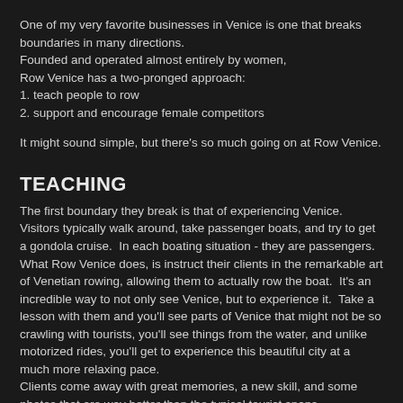One of my very favorite businesses in Venice is one that breaks boundaries in many directions.
Founded and operated almost entirely by women,
Row Venice has a two-pronged approach:
1. teach people to row
2. support and encourage female competitors
It might sound simple, but there's so much going on at Row Venice.
TEACHING
The first boundary they break is that of experiencing Venice.
Visitors typically walk around, take passenger boats, and try to get a gondola cruise.  In each boating situation - they are passengers.
What Row Venice does, is instruct their clients in the remarkable art of Venetian rowing, allowing them to actually row the boat.  It's an incredible way to not only see Venice, but to experience it.  Take a lesson with them and you'll see parts of Venice that might not be so crawling with tourists, you'll see things from the water, and unlike motorized rides, you'll get to experience this beautiful city at a much more relaxing pace.
Clients come away with great memories, a new skill, and some photos that are way better than the typical tourist snaps.